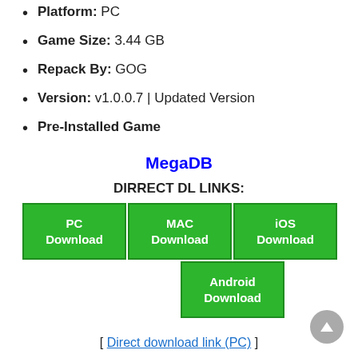Platform: PC
Game Size: 3.44 GB
Repack By: GOG
Version: v1.0.0.7 | Updated Version
Pre-Installed Game
MegaDB
DIRRECT DL LINKS:
[Figure (other): Download buttons for PC Download, MAC Download, iOS Download, and Android Download in green color]
[ Direct download link (PC) ]